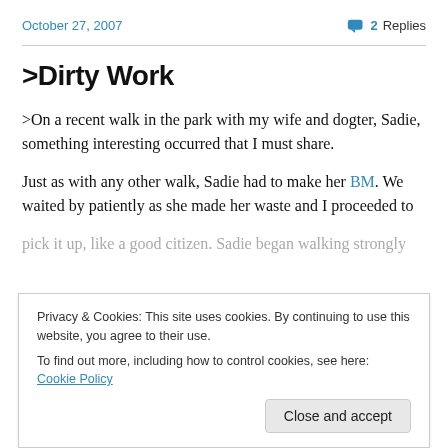October 27, 2007   2 Replies
>Dirty Work
>On a recent walk in the park with my wife and dogter, Sadie, something interesting occurred that I must share.
Just as with any other walk, Sadie had to make her BM. We waited by patiently as she made her waste and I proceeded to pick it up, like a good citizen. Sadie began walking strongly
Privacy & Cookies: This site uses cookies. By continuing to use this website, you agree to their use.
To find out more, including how to control cookies, see here: Cookie Policy